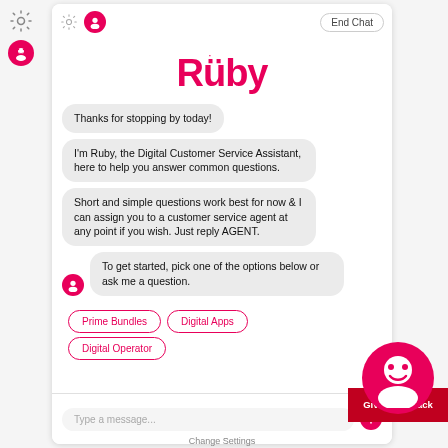[Figure (screenshot): Ruby chatbot interface screenshot showing chat window with logo, chat bubbles, option buttons, and input bar]
Ruby
Thanks for stopping by today!
I'm Ruby, the Digital Customer Service Assistant, here to help you answer common questions.
Short and simple questions work best for now & I can assign you to a customer service agent at any point if you wish. Just reply AGENT.
To get started, pick one of the options below or ask me a question.
Prime Bundles
Digital Apps
Digital Operator
Type a message...
Change Settings
Give Feedback